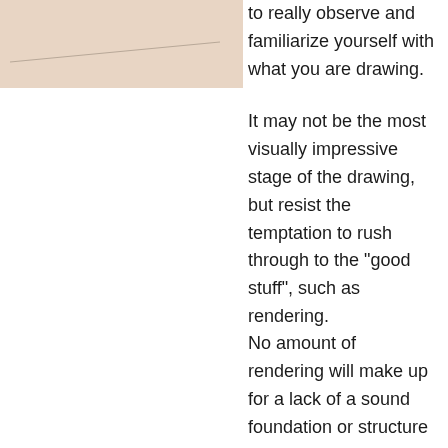[Figure (illustration): Partial illustration with a beige/tan background, showing a diagonal line suggesting a drawing or sketch in progress.]
to really observe and familiarize yourself with what you are drawing.
It may not be the most visually impressive stage of the drawing, but resist the temptation to rush through to the "good stuff", such as rendering.
No amount of rendering will make up for a lack of a sound foundation or structure in your drawing!